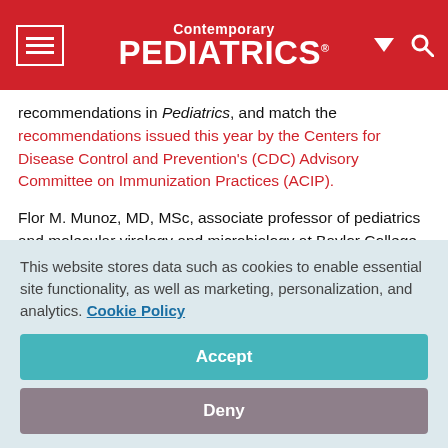Contemporary PEDIATRICS
recommendations in Pediatrics, and match the recommendations issued this year by the Centers for Disease Control and Prevention's (CDC) Advisory Committee on Immunization Practices (ACIP).
Flor M. Munoz, MD, MSc, associate professor of pediatrics and molecular virology and microbiology at Baylor College of Medicine and medical director for the transplant infectious diseases program at Texas Children's Hospital in Houston,
This website stores data such as cookies to enable essential site functionality, as well as marketing, personalization, and analytics. Cookie Policy
Accept
Deny